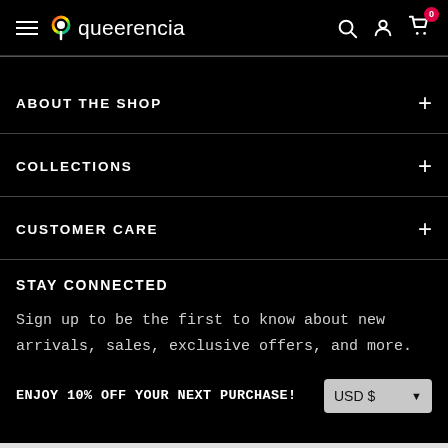queerencia — navigation header with hamburger menu, logo, search, account, and cart icons (cart badge: 0)
ABOUT THE SHOP
COLLECTIONS
CUSTOMER CARE
STAY CONNECTED
Sign up to be the first to know about new arrivals, sales, exclusive offers, and more.
ENJOY 10% OFF YOUR NEXT PURCHASE!
USD $